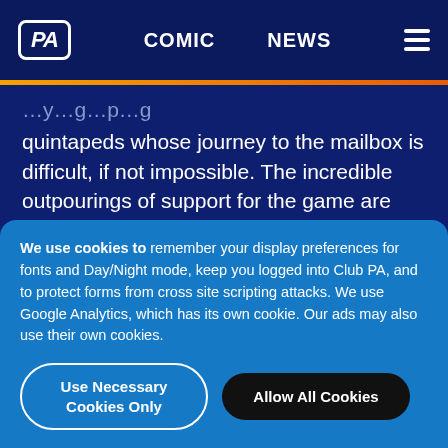PA | COMIC | NEWS
quintapeds whose journey to the mailbox is difficult, if not impossible. The incredible outpourings of support for the game are themselves incredible to me, but what they've done is try to create a product whose potential is as raw as possible. We seem to value that ethereal
We use cookies to remember your display preferences for fonts and Day/Night mode, keep you logged into Club PA, and to protect forms from cross site scripting attacks. We use Google Analytics, which has its own cookie. Our ads may also use their own cookies.
Use Necessary Cookies Only
Allow All Cookies